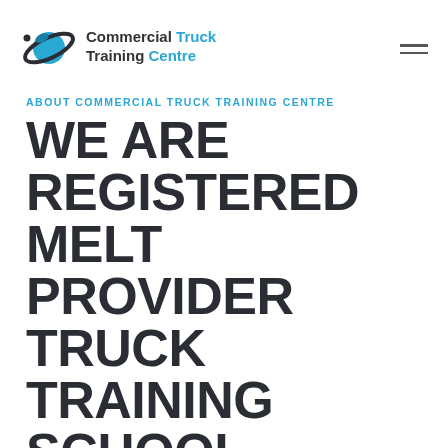[Figure (logo): Commercial Truck Training Centre logo with stylized planet/orbit graphic and text]
ABOUT COMMERCIAL TRUCK TRAINING CENTRE
WE ARE REGISTERED MELT PROVIDER TRUCK TRAINING SCHOOL.
We are Manitoba's premier Class 1 Commercial driver training facility. At First Class we take great pride in offering the highest standard of professional driving education for our clients. All of our instructors